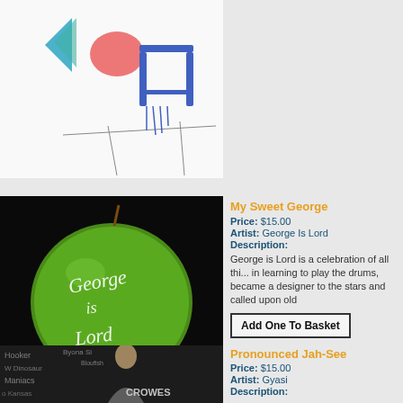[Figure (photo): Partial view of a hand-drawn or watercolor illustration, cropped at top]
My Sweet George
Price: $15.00
Artist: George Is Lord
Description:
George is Lord is a celebration of all thi... in learning to play the drums, became a designer to the stars and called upon old
[Figure (photo): Green apple with 'George is Lord' carved/written in white lettering on black background]
Add One To Basket
Pronounced Jah-See
Price: $15.00
Artist: Gyasi
Description:
[Figure (photo): Album cover with woman and band names written in background text on dark background]